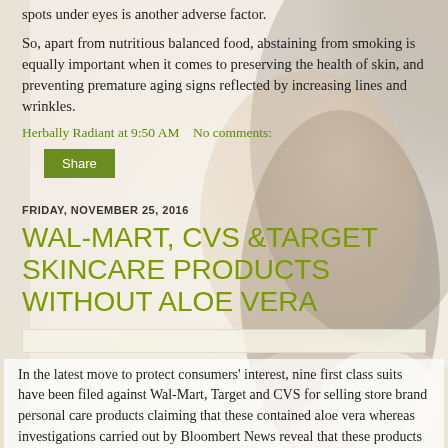spots under eyes is another adverse factor.
So, apart from nutritious balanced food, abstaining from smoking is equally important when it comes to preserving the health of skin, and preventing premature aging signs reflected by increasing lines and wrinkles.
Herbally Radiant at 9:50 AM   No comments:
Share
FRIDAY, NOVEMBER 25, 2016
WAL-MART, CVS &TARGET SKINCARE PRODUCTS WITHOUT ALOE VERA
In the latest move to protect consumers' interest, nine first class suits have been filed against Wal-Mart, Target and CVS for selling store brand personal care products claiming that these contained aloe vera whereas investigations carried out by Bloombert News reveal that these products were indeed formulated without aloe vera.